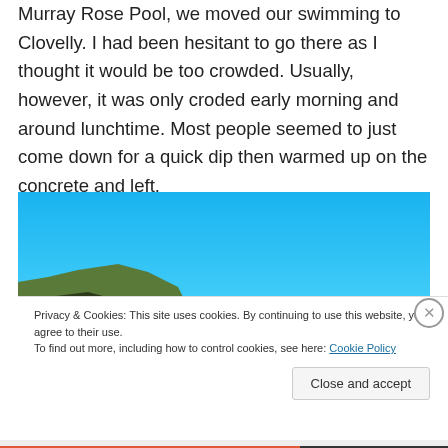Murray Rose Pool, we moved our swimming to Clovelly. I had been hesitant to go there as I thought it would be too crowded. Usually, however, it was only croded early morning and around lunchtime. Most people seemed to just come down for a quick dip then warmed up on the concrete and left.
[Figure (photo): Outdoor photo showing a bright blue sky with a grassy headland/cliff visible at the lower left and a body of water (ocean pool) in the middle distance.]
Privacy & Cookies: This site uses cookies. By continuing to use this website, you agree to their use.
To find out more, including how to control cookies, see here: Cookie Policy